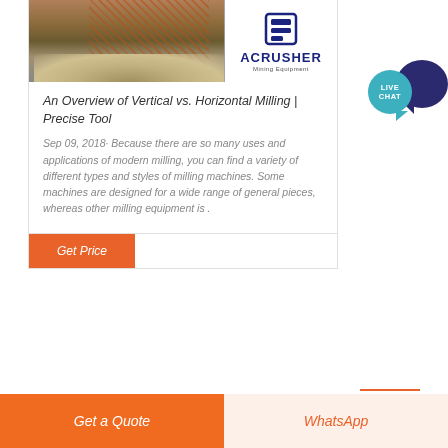[Figure (photo): Mining/crushing equipment machinery photo with ACRUSHER Mining Equipment logo overlay]
An Overview of Vertical vs. Horizontal Milling | Precise Tool
Sep 09, 2018· Because there are so many uses and applications of modern milling, you can find a variety of different types and styles of milling machines. Some machines are designed for a wide range of general pieces, whereas other milling equipment is .
[Figure (logo): LIVE CHAT speech bubble icon in teal and dark navy blue]
Get Price
Get a Quote
WhatsApp